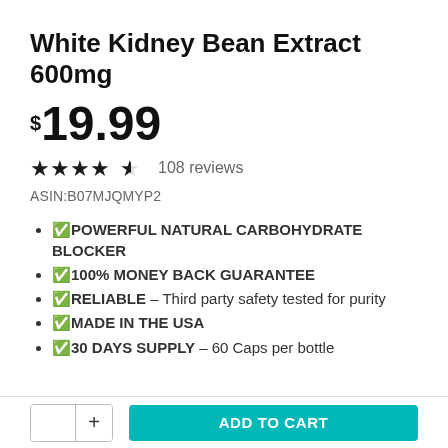White Kidney Bean Extract 600mg
$19.99
★★★★½ 108 reviews
ASIN:B07MJQMYP2
✅POWERFUL NATURAL CARBOHYDRATE BLOCKER
✅100% MONEY BACK GUARANTEE
✅RELIABLE – Third party safety tested for purity
✅MADE IN THE USA
✅30 DAYS SUPPLY – 60 Caps per bottle